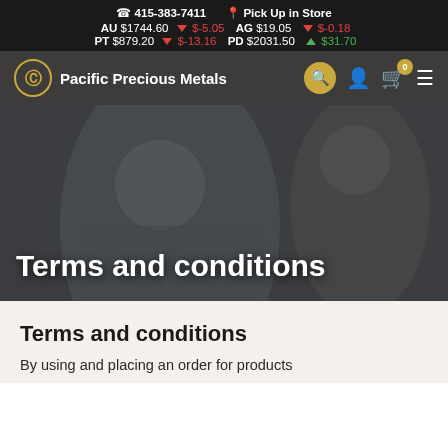415-383-7411  Pick Up in Store
AU $1744.60 ▼ $-5.05  AG $19.05 ▼ $-0.18
PT $879.20 ▼ $-13.16  PD $2031.50 ▲ $31.70
[Figure (screenshot): Pacific Precious Metals navigation bar with logo, search, user, cart (0), and menu icons on dark background]
[Figure (photo): Hero image showing two men in conversation with dark overlay and 'Terms and conditions' title text]
Terms and conditions
Terms and conditions
By using and placing an order for products